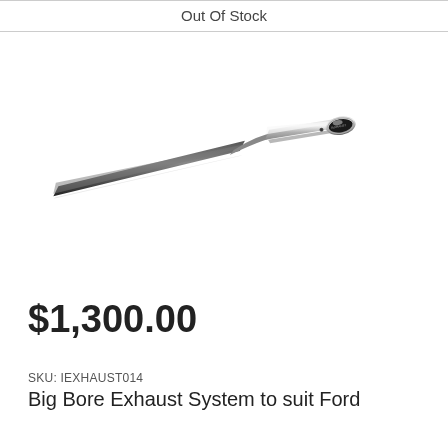Out Of Stock
[Figure (photo): A stainless steel big bore exhaust pipe system, shown diagonally with a polished oval tip on the right end, dark/matte finish on the left section.]
$1,300.00
SKU: IEXHAUST014
Big Bore Exhaust System to suit Ford